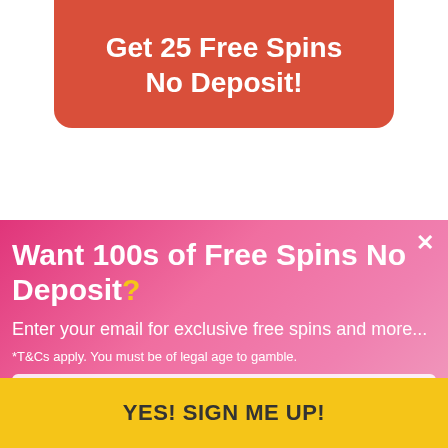Get 25 Free Spins No Deposit!
Not available to players from Ontario. *T&Cs and wagering limits apply. PLEASE GAMBLE RESPONSIBLY
Want 100s of Free Spins No Deposit?
Enter your email for exclusive free spins and more...
*T&Cs apply. You must be of legal age to gamble.
Enter your email here...
YES! SIGN ME UP!